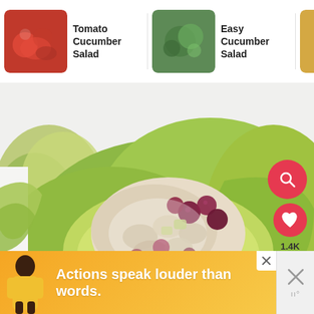[Figure (screenshot): Website header navigation bar showing three recipe thumbnails: Tomato Cucumber Salad, Easy Cucumber Salad, and Caprese P... Salad with a right arrow]
Tomato Cucumber Salad
Easy Cucumber Salad
Caprese P Salad
[Figure (photo): Main food photo: chicken salad with cranberries and grapes served in a butter lettuce cup on a white background]
1.4K
[Figure (screenshot): Advertisement banner with orange gradient background, person figure, and text 'Actions speak louder than words.' with a close button and X dismiss area]